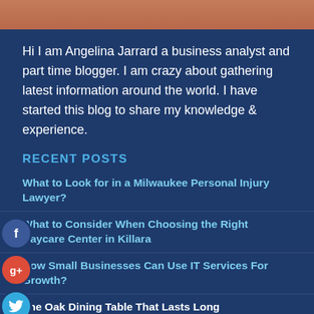[Figure (photo): Top portion of a person's photo, cropped showing mostly hair/top of head with brown/auburn hair against a light background]
Hi I am Angelina Jarrard a business analyst and part time blogger. I am crazy about gathering latest information around the world. I have started this blog to share my knowledge & experience.
RECENT POSTS
What to Look for in a Milwaukee Personal Injury Lawyer?
What to Consider When Choosing the Right Daycare Center in Killara
How Small Businesses Can Use IT Services For Growth?
The Oak Dining Table That Lasts Long